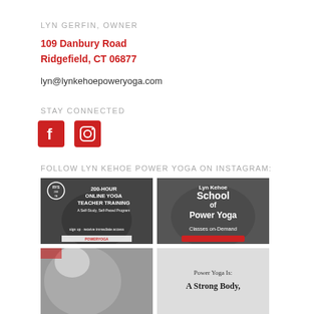LYN GERFIN, OWNER
109 Danbury Road
Ridgefield, CT 06877
lyn@lynkehoepoweryoga.com
STAY CONNECTED
[Figure (logo): Facebook icon (red square with 'f')]
[Figure (logo): Instagram icon (red square with camera)]
FOLLOW LYN KEHOE POWER YOGA ON INSTAGRAM:
[Figure (photo): Instagram post: 200-HOUR ONLINE YOGA TEACHER TRAINING - A Self-Study, Self-Paced Program. sign up - receive immediate access. Shows person in yoga pose, black and white with Lyn Kehoe Power Yoga logo.]
[Figure (photo): Instagram post: Lyn Kehoe School of Power Yoga - Classes on-Demand. Shows person doing yoga pose.]
[Figure (photo): Instagram post: partially visible, shows person with blonde hair.]
[Figure (photo): Instagram post: Power Yoga Is: A Strong Body. Text on light background.]